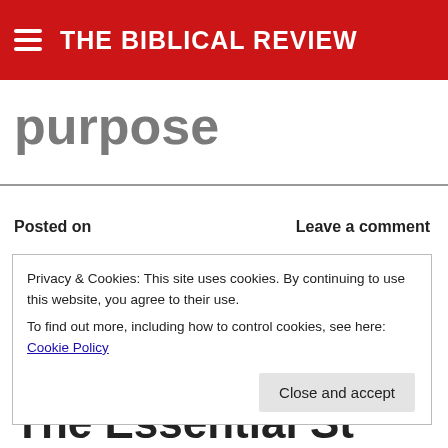THE BIBLICAL REVIEW
purpose
Posted on     Leave a comment
Privacy & Cookies: This site uses cookies. By continuing to use this website, you agree to their use.
To find out more, including how to control cookies, see here: Cookie Policy
Close and accept
The Essential St...